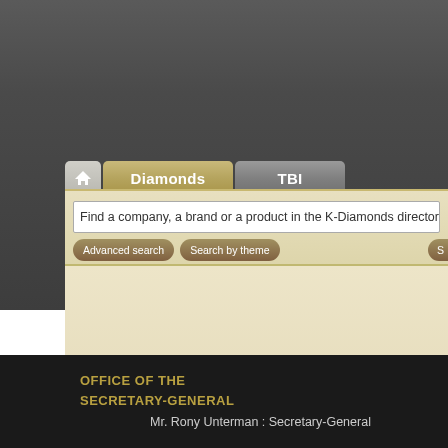[Figure (screenshot): Screenshot of K-Diamonds web directory interface showing navigation tabs (home, Diamonds, TBI), a search bar with placeholder text 'Find a company, a brand or a product in the K-Diamonds directory', Advanced search and Search by theme buttons]
Find a company, a brand or a product in the K-Diamonds directory
Advanced search
Search by theme
OFFICE OF THE SECRETARY-GENERAL
Mr. Rony Unterman : Secretary-General